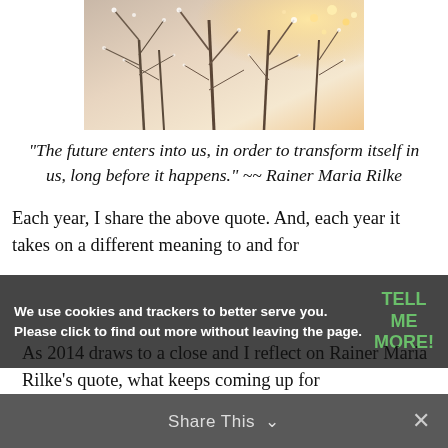[Figure (photo): A winter scene showing frost-covered bare tree branches with bokeh light effects, warm golden tones in the upper right corner.]
“The future enters into us, in order to transform itself in us, long before it happens.” ~~ Rainer Maria Rilke
Each year, I share the above quote. And, each year it takes on a different meaning to and for
We use cookies and trackers to better serve you. Please click to find out more without leaving the page.
TELL ME MORE!
As 2014 draws to a close and I reflect on Rainer Maria Rilke’s quote, what keeps coming up for
Share This